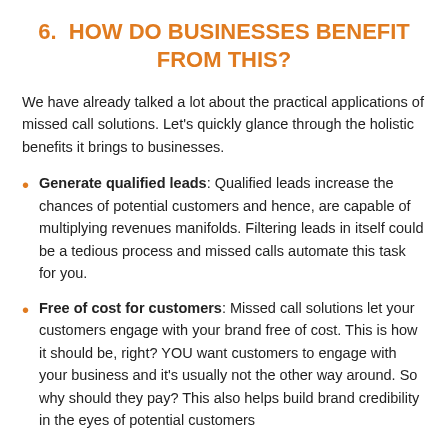6.  HOW DO BUSINESSES BENEFIT FROM THIS?
We have already talked a lot about the practical applications of missed call solutions. Let's quickly glance through the holistic benefits it brings to businesses.
Generate qualified leads: Qualified leads increase the chances of potential customers and hence, are capable of multiplying revenues manifolds. Filtering leads in itself could be a tedious process and missed calls automate this task for you.
Free of cost for customers: Missed call solutions let your customers engage with your brand free of cost. This is how it should be, right? YOU want customers to engage with your business and it's usually not the other way around. So why should they pay? This also helps build brand credibility in the eyes of potential customers